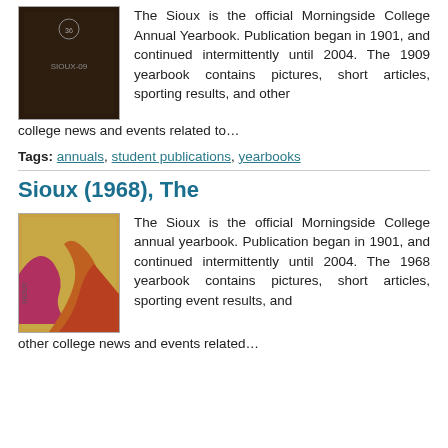[Figure (photo): Dark brown cover of the Sioux yearbook with 'SIOUX-09' text visible]
The Sioux is the official Morningside College Annual Yearbook. Publication began in 1901, and continued intermittently until 2004. The 1909 yearbook contains pictures, short articles, sporting results, and other college news and events related to…
Tags: annuals, student publications, yearbooks
Sioux (1968), The
[Figure (photo): Gold/yellow cover of the 1968 Sioux yearbook with abstract red and gold design]
The Sioux is the official Morningside College annual yearbook. Publication began in 1901, and continued intermittently until 2004. The 1968 yearbook contains pictures, short articles, sporting event results, and other college news and events related…